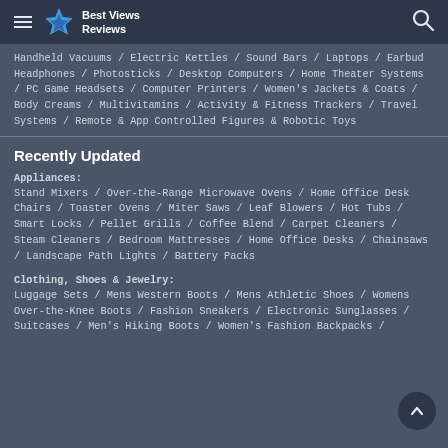Best Views Reviews
Handheld Vacuums / Electric Kettles / Sound Bars / Laptops / Earbud Headphones / Photosticks / Desktop Computers / Home Theater Systems / PC Game Headsets / Computer Printers / Women's Jackets & Coats / Body Creams / Multivitamins / Activity & Fitness Trackers / Travel Systems / Remote & App Controlled Figures & Robotic Toys
Recently Updated
Appliances:
Stand Mixers / Over-the-Range Microwave Ovens / Home Office Desk Chairs / Toaster Ovens / Miter Saws / Leaf Blowers / Hot Tubs / Smart Locks / Pellet Grills / Coffee Blend / Carpet Cleaners / Steam Cleaners / Bedroom Mattresses / Home Office Desks / Chainsaws / Landscape Path Lights / Battery Packs
Clothing, Shoes & Jewelry:
Luggage Sets / Mens Western Boots / Mens Athletic Shoes / Womens Over-the-Knee Boots / Fashion Sneakers / Electronic Sunglasses / Suitcases / Men's Hiking Boots / Women's Fashion Backpacks /